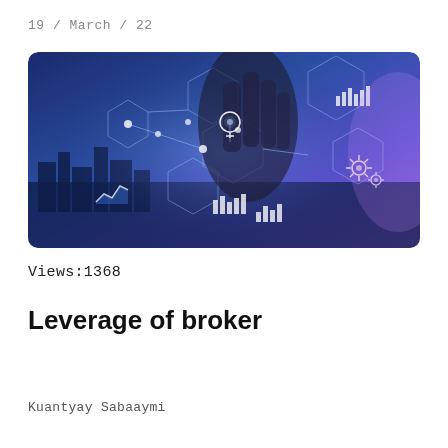19 / March / 22
[Figure (photo): A hand touching a digital financial technology interface with glowing hexagonal icons showing charts, gears, lightbulb, and data visualizations over a city background with blue and purple hues.]
Views:1368
Leverage of broker
Kuantyay Sabaaymi